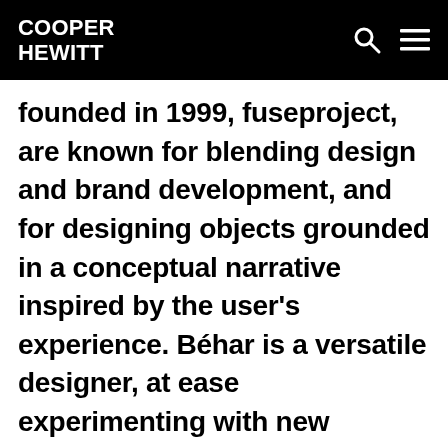COOPER HEWITT
founded in 1999, fuseproject, are known for blending design and brand development, and for designing objects grounded in a conceptual narrative inspired by the user's experience. Béhar is a versatile designer, at ease experimenting with new concepts, clients, materials, and technologies. He has produced a wide spectrum of work, as can be seen in the range of his designs shown in Cooper-Hewitt's exhibition celebrating the 10th anniversary of the National Design Awards,